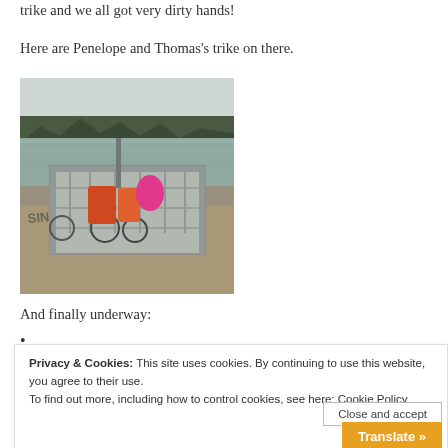trike and we all got very dirty hands!
Here are Penelope and Thomas’s trike on there.
[Figure (photo): A ferry/barge loaded with bicycles or trikes, sitting at the water's edge of a calm lake or river. Metal fencing surrounds the flat deck. Trees line the far shore under an overcast sky. Gravel and mud visible in the foreground.]
And finally underway:
Privacy & Cookies: This site uses cookies. By continuing to use this website, you agree to their use.
To find out more, including how to control cookies, see here: Cookie Policy
Close and accept
Translate »